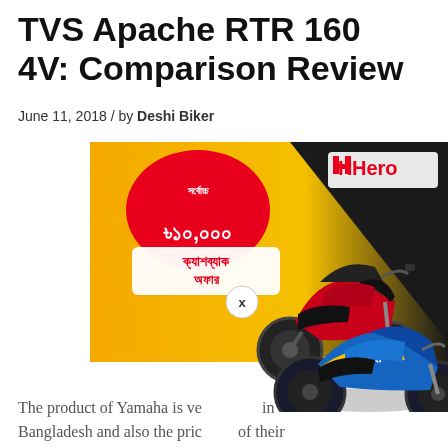TVS Apache RTR 160 4V: Comparison Review
June 11, 2018 / by Deshi Biker
[Figure (photo): Advertisement banner showing two motorcycles - a red TVS Apache RTR and a blue Suzuki, with Bengali text showing ৳১০,০০০ cashback offer and Hero logo]
The product of Yamaha is very popular in Bangladesh and also the price of their